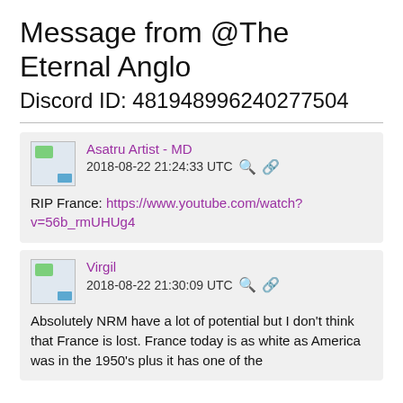Message from @The Eternal Anglo
Discord ID: 481948996240277504
Asatru Artist - MD
2018-08-22 21:24:33 UTC
RIP France: https://www.youtube.com/watch?v=56b_rmUHUg4
Virgil
2018-08-22 21:30:09 UTC
Absolutely NRM have a lot of potential but I don't think that France is lost. France today is as white as America was in the 1950's plus it has one of the